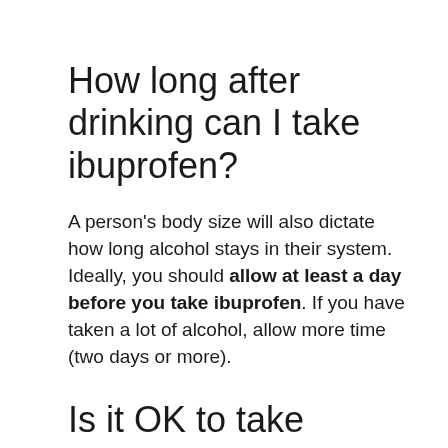How long after drinking can I take ibuprofen?
A person's body size will also dictate how long alcohol stays in their system. Ideally, you should allow at least a day before you take ibuprofen. If you have taken a lot of alcohol, allow more time (two days or more).
Is it OK to take ibuprofen after drinking alcohol?
Alcohol can interfere with some drugs, making them less effective. Alcohol can also